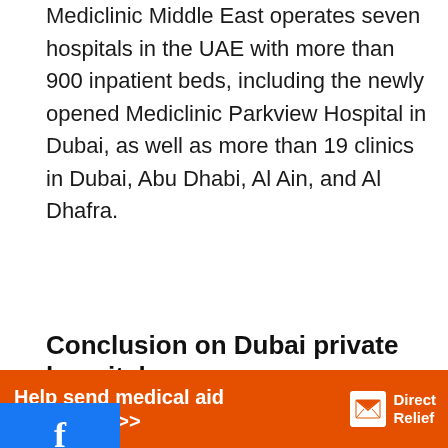Mediclinic Middle East operates seven hospitals in the UAE with more than 900 inpatient beds, including the newly opened Mediclinic Parkview Hospital in Dubai, as well as more than 19 clinics in Dubai, Abu Dhabi, Al Ain, and Al Dhafra.
Conclusion on Dubai private hospitals
list of private hospitals in Dubai is very essential ause it gives easy access to these top hospitals and
We use cookies on our website to give you the most relevant experience by remembering your preferences and repeat visits. By clicking “Accept”, you consent to the use of ALL the cookies.
Help send medical aid to Ukraine >>